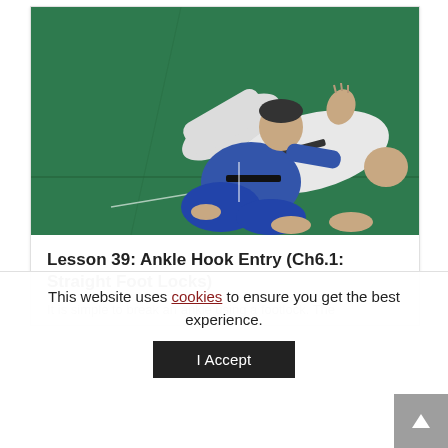[Figure (photo): Two BJJ/judo practitioners on a green mat. One wearing a blue gi is crouching over the other who is wearing a white gi and lying on their back with hand raised.]
Lesson 39: Ankle Hook Entry (Ch6.1: Straight Foot Locks)
It is simple to break an ankle using a footlock. The
This website uses cookies to ensure you get the best experience.
I Accept